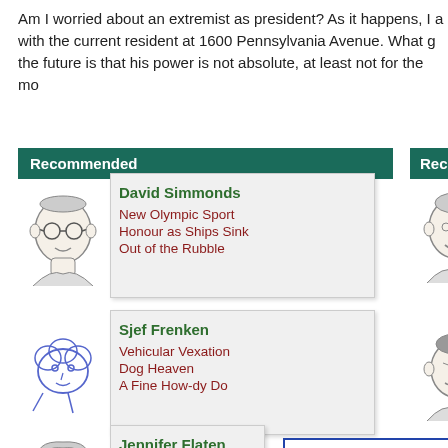Am I worried about an extremist as president? As it happens, I a with the current resident at 1600 Pennsylvania Avenue. What g the future is that his power is not absolute, at least not for the mo
Recommended
[Figure (illustration): Caricature portrait of David Simmonds]
David Simmonds
New Olympic Sport
Honour as Ships Sink
Out of the Rubble
[Figure (illustration): Caricature portrait of right column author (Ma...)]
Ma...
Re...
Rai...
Spr...
[Figure (illustration): Caricature portrait of Sjef Frenken]
Sjef Frenken
Vehicular Vexation
Dog Heaven
A Fine How-dy Do
[Figure (illustration): Caricature portrait of right column author (Bo...)]
Bo...
NH...
Par...
Mo...
Top of Page
Home Page
All Interviews
[Figure (illustration): Caricature portrait of Jennifer Flaten]
Jennifer Flaten
Ice Cream Cake
Oktoberfest
Fun in the Spring
[Figure (illustration): Caricature portrait of right column author (Str...)]
Str...
Am...
Dic...
Re...